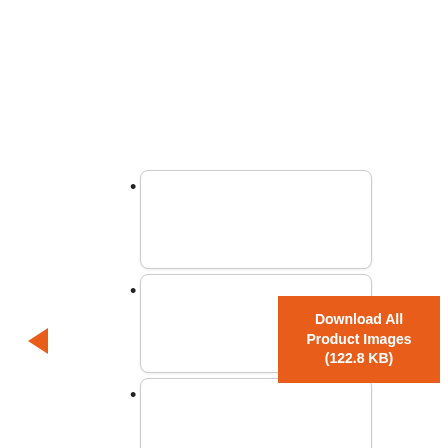[Figure (screenshot): UI element: left navigation arrow in orange]
[Figure (screenshot): Three thumbnail image placeholders with bullet points, arranged vertically]
[Figure (screenshot): Right navigation arrow in orange]
Download All Product Images (122.8 KB)